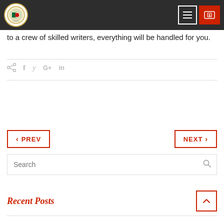[Figure (logo): Website header with circular logo (Bangladesh flag/emblem), hamburger menu button, and red donate button]
to a crew of skilled writers, everything will be handled for you.
[Figure (infographic): Social sharing icons row: share, facebook, twitter, google+, linkedin]
< PREV    NEXT >
Search
Recent Posts